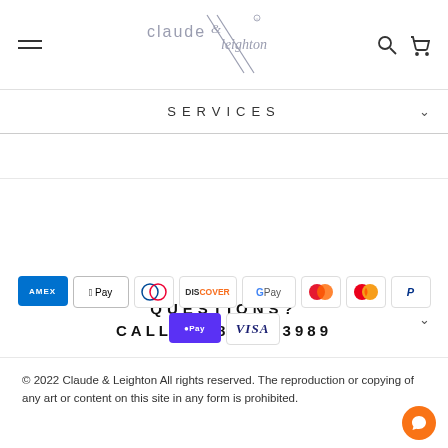claude & leighton — navigation header with hamburger menu, logo, search and cart icons
SERVICES
QUESTIONS? CALL 0118 979 3989
[Figure (infographic): Payment method icons: American Express, Apple Pay, Diners Club, Discover, Google Pay, Maestro, Mastercard, PayPal, Shop Pay, Visa]
© 2022 Claude & Leighton All rights reserved. The reproduction or copying of any art or content on this site in any form is prohibited.